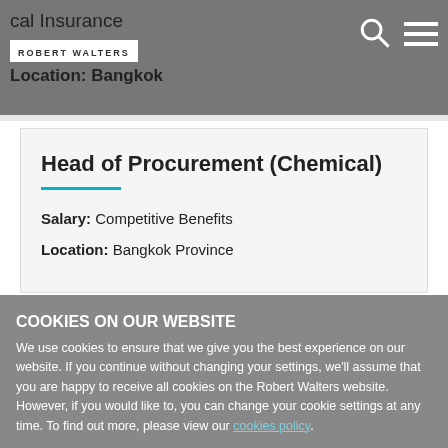Robert Walters | Medical Insurance | Location: Bangkok
Head of Procurement (Chemical)
Salary: Competitive Benefits
Location: Bangkok Province
COOKIES ON OUR WEBSITE
We use cookies to ensure that we give you the best experience on our website. If you continue without changing your settings, we'll assume that you are happy to receive all cookies on the Robert Walters website. However, if you would like to, you can change your cookie settings at any time. To find out more, please view our cookies policy.
Ok, I agree | No, give me more information